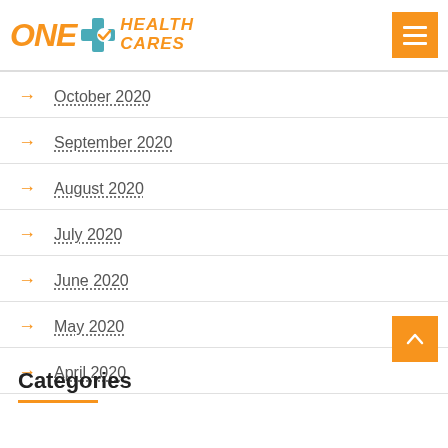ONE HEALTH CARES
October 2020
September 2020
August 2020
July 2020
June 2020
May 2020
April 2020
Categories